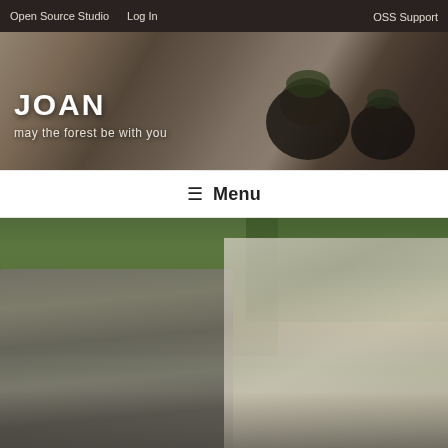Open Source Studio   Log In   OSS Support
JOAN
may the forest be with you
[Figure (photo): Hero banner photo of decorative succulents in dark round pots on a wooden surface, dark toned]
≡ Menu
[Figure (photo): Outdoor park photo showing a stone wall path beside a green pond/lake, with trees in background and people walking on a cobblestone path]